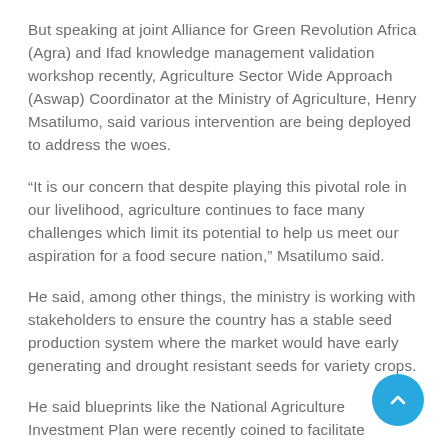But speaking at joint Alliance for Green Revolution Africa (Agra) and Ifad knowledge management validation workshop recently, Agriculture Sector Wide Approach (Aswap) Coordinator at the Ministry of Agriculture, Henry Msatilumo, said various intervention are being deployed to address the woes.
“It is our concern that despite playing this pivotal role in our livelihood, agriculture continues to face many challenges which limit its potential to help us meet our aspiration for a food secure nation,” Msatilumo said.
He said, among other things, the ministry is working with stakeholders to ensure the country has a stable seed production system where the market would have early generating and drought resistant seeds for variety crops.
He said blueprints like the National Agriculture Investment Plan were recently coined to facilitate creation of an environment where players join hands in addressing the bottlenecks.